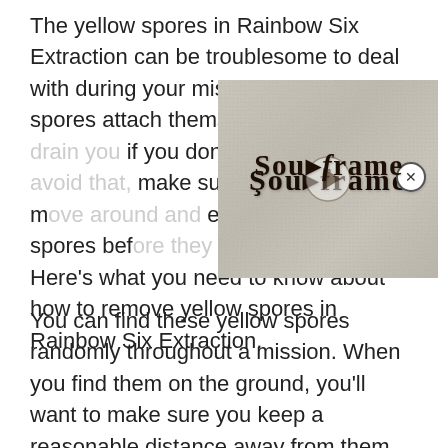The yellow spores in Rainbow Six Extraction can be troublesome to deal with during your missions. These spores attach themselves to you and drain you if you don't deal with them. To avoid that, make sure you cautiously move around and eliminate yellow spores before they can reach you. Here's what you need to know about how to remove yellow spores in Rainbow Six Extraction.
[Figure (screenshot): An overlay card showing a thumbnail image with a textured/stone background and gothic-style brand text reading 'Soulframe' with a play button icon in the center.]
You can find these yellow spores randomly throughout a mission. When you find them on the ground, you'll want to make sure you keep a reasonable distance away from them and use any of your weapons. Of the choices available to you, we recommend selecting a silenced weapon to prevent